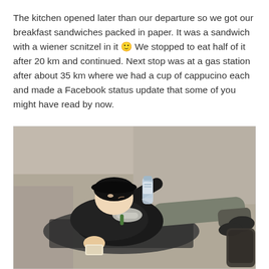The kitchen opened later than our departure so we got our breakfast sandwiches packed in paper. It was a sandwich with a wiener scnitzel in it 🙂 We stopped to eat half of it after 20 km and continued. Next stop was at a gas station after about 35 km where we had a cup of cappucino each and made a Facebook status update that some of you might have read by now.
[Figure (photo): A man wearing a black hat and black jacket lying on the ground outdoors, drinking from a water bottle while holding a sandwich wrapped in paper. He is wearing grey pants and dark shoes. The ground appears to be gravel or pavement.]